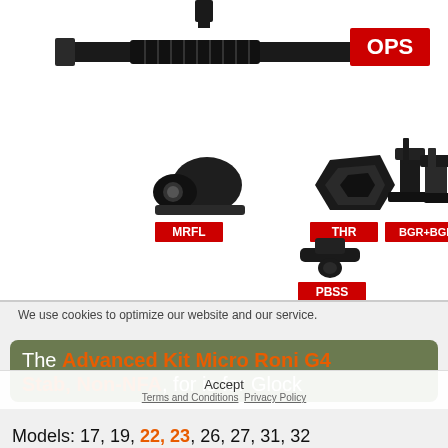[Figure (photo): Product image showing tactical firearm accessories: a sling strap at top with OPS badge, and below that a flashlight (MRFL), mount adapter (THR), backup iron sights set (BGR+BGF), and a sling mount (PBSS)]
We use cookies to optimize our website and our service.
The Advanced Kit Micro Roni G4 Stab, Non-NFA, for is for Glock
Models: 17, 19, 22, 23, 26, 27, 31, 32